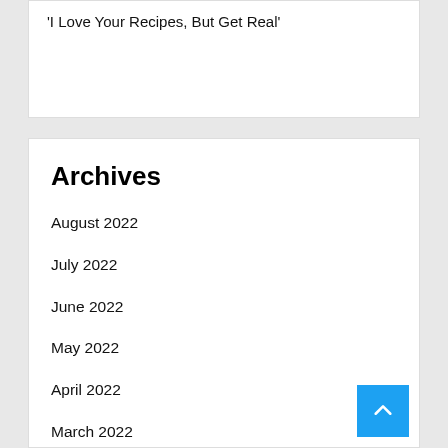'I Love Your Recipes, But Get Real'
Archives
August 2022
July 2022
June 2022
May 2022
April 2022
March 2022
February 2022